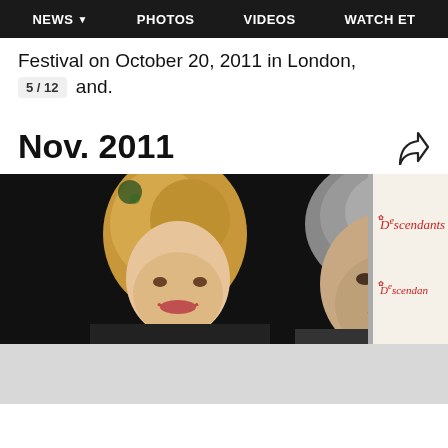NEWS  PHOTOS  VIDEOS  WATCH ET
Festival on October 20, 2011 in London, 5/12 and.
Nov. 2011
[Figure (photo): A man and woman posing together at a Descendants movie premiere event. The woman has blonde hair and the man has silver/gray hair. The Descendants logo is visible in the background.]